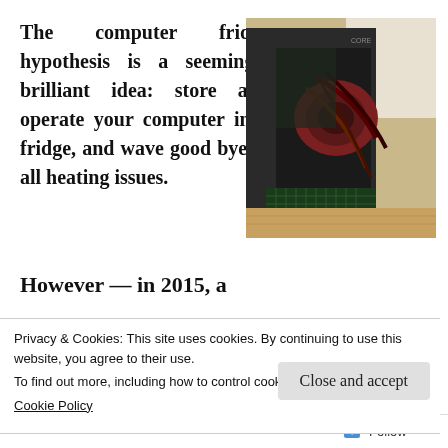The computer fridge hypothesis is a seemingly brilliant idea: store and operate your computer in a fridge, and wave good bye to all heating issues.
[Figure (photo): A desktop PC case with the side panel open, revealing internal components including fans and cables, sitting on a wooden floor.]
However — in 2015, a
Privacy & Cookies: This site uses cookies. By continuing to use this website, you agree to their use.
To find out more, including how to control cookies, see here:
Cookie Policy
Close and accept
Follow •••